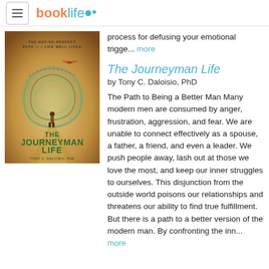booklife
process for defusing your emotional trigge... more
The Journeyman Life
by Tony C. Daloisio, PhD
[Figure (illustration): Book cover for 'The Journeyman Life: The Not-So-Perfect Path to a Life Well Lived' by Tony C. Daloisio, PhD, showing a man standing on a road with a swirling green and earth-toned circular design and a bird in flight.]
The Path to Being a Better Man Many modern men are consumed by anger, frustration, aggression, and fear. We are unable to connect effectively as a spouse, a father, a friend, and even a leader. We push people away, lash out at those we love the most, and keep our inner struggles to ourselves. This disjunction from the outside world poisons our relationships and threatens our ability to find true fulfillment. But there is a path to a better version of the modern man. By confronting the inn... more